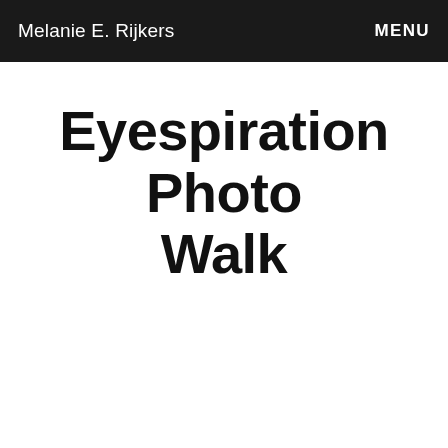Melanie E. Rijkers   MENU
Eyespiration Photo Walk